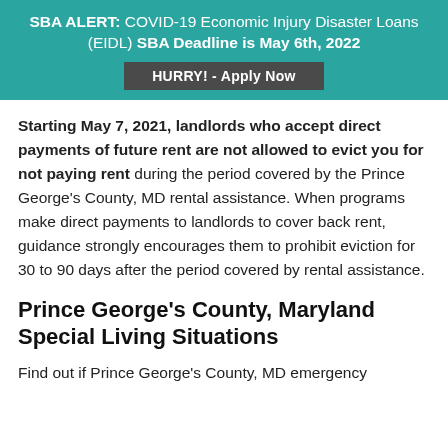SBA ALERT: COVID-19 Economic Injury Disaster Loans (EIDL) SBA Deadline is May 6th, 2022
HURRY! - Apply Now
Starting May 7, 2021, landlords who accept direct payments of future rent are not allowed to evict you for not paying rent during the period covered by the Prince George's County, MD rental assistance. When programs make direct payments to landlords to cover back rent, guidance strongly encourages them to prohibit eviction for 30 to 90 days after the period covered by rental assistance.
Prince George's County, Maryland Special Living Situations
Find out if Prince George's County, MD emergency